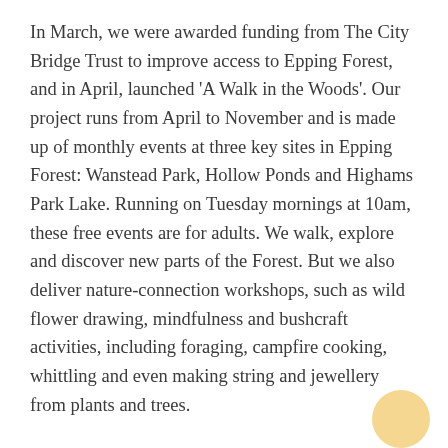In March, we were awarded funding from The City Bridge Trust to improve access to Epping Forest, and in April, launched 'A Walk in the Woods'. Our project runs from April to November and is made up of monthly events at three key sites in Epping Forest: Wanstead Park, Hollow Ponds and Highams Park Lake. Running on Tuesday mornings at 10am, these free events are for adults. We walk, explore and discover new parts of the Forest. But we also deliver nature-connection workshops, such as wild flower drawing, mindfulness and bushcraft activities, including foraging, campfire cooking, whittling and even making string and jewellery from plants and trees.
Being outdoors in nature has been proven to reduce stress levels and increase feelings of positivity. Now, evidence from the Mental Health Foundation shows us that the quality of our relationship with nature is part of the reason for its positive impact on our well-being. Often referred to